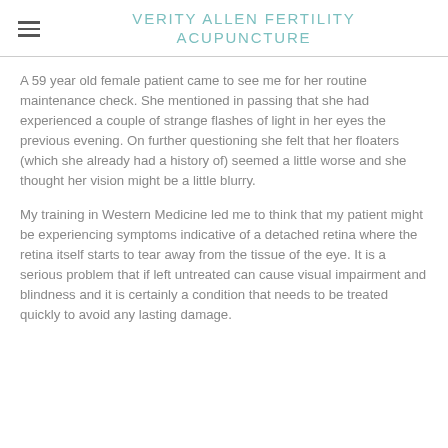VERITY ALLEN FERTILITY ACUPUNCTURE
A 59 year old female patient came to see me for her routine maintenance check. She mentioned in passing that she had experienced a couple of strange flashes of light in her eyes the previous evening. On further questioning she felt that her floaters (which she already had a history of) seemed a little worse and she thought her vision might be a little blurry.
My training in Western Medicine led me to think that my patient might be experiencing symptoms indicative of a detached retina where the retina itself starts to tear away from the tissue of the eye. It is a serious problem that if left untreated can cause visual impairment and blindness and it is certainly a condition that needs to be treated quickly to avoid any lasting damage.